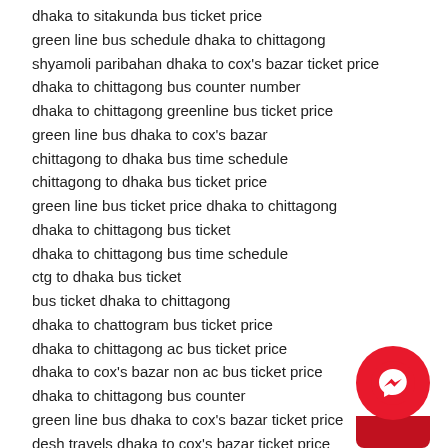dhaka to sitakunda bus ticket price
green line bus schedule dhaka to chittagong
shyamoli paribahan dhaka to cox's bazar ticket price
dhaka to chittagong bus counter number
dhaka to chittagong greenline bus ticket price
green line bus dhaka to cox's bazar
chittagong to dhaka bus time schedule
chittagong to dhaka bus ticket price
green line bus ticket price dhaka to chittagong
dhaka to chittagong bus ticket
dhaka to chittagong bus time schedule
ctg to dhaka bus ticket
bus ticket dhaka to chittagong
dhaka to chattogram bus ticket price
dhaka to chittagong ac bus ticket price
dhaka to cox's bazar non ac bus ticket price
dhaka to chittagong bus counter
green line bus dhaka to cox's bazar ticket price
desh travels dhaka to cox's bazar ticket price
best bus service from dhaka to chittagong